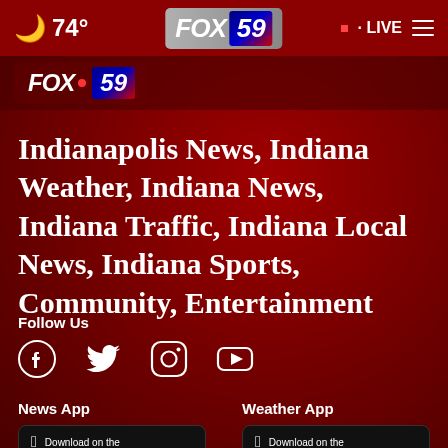🌙 74° FOX 59 · LIVE
[Figure (logo): FOX 59 logo banner in secondary bar]
Indianapolis News, Indiana Weather, Indiana News, Indiana Traffic, Indiana Local News, Indiana Sports, Community, Entertainment
Follow Us
[Figure (illustration): Social media icons: Facebook, Twitter, Instagram, YouTube]
News App
Weather App
[Figure (screenshot): Download on the App Store button for News App]
[Figure (screenshot): Download on the App Store button for Weather App]